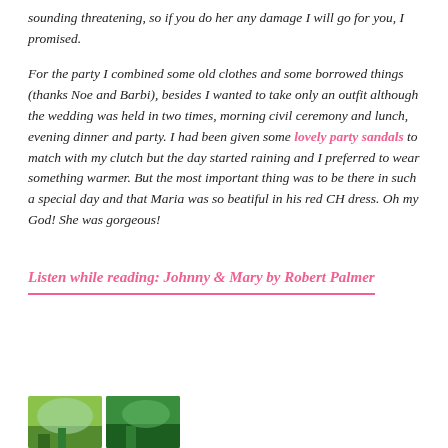sounding threatening, so if you do her any damage I will go for you, I promised.
For the party I combined some old clothes and some borrowed things (thanks Noe and Barbi), besides I wanted to take only an outfit although the wedding was held in two times, morning civil ceremony and lunch, evening dinner and party. I had been given some lovely party sandals to match with my clutch but the day started raining and I preferred to wear something warmer. But the most important thing was to be there in such a special day and that Maria was so beatiful in his red CH dress. Oh my God! She was gorgeous!
Listen while reading: Johnny & Mary by Robert Palmer
[Figure (photo): Two small thumbnail photos at the bottom of the page, showing green outdoor scenery]